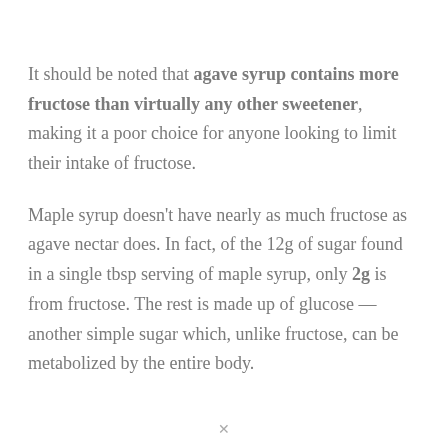It should be noted that agave syrup contains more fructose than virtually any other sweetener, making it a poor choice for anyone looking to limit their intake of fructose.
Maple syrup doesn't have nearly as much fructose as agave nectar does. In fact, of the 12g of sugar found in a single tbsp serving of maple syrup, only 2g is from fructose. The rest is made up of glucose — another simple sugar which, unlike fructose, can be metabolized by the entire body.